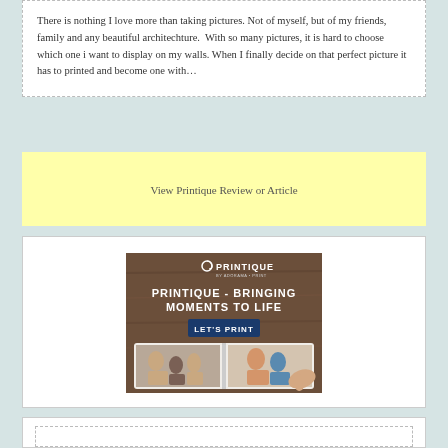There is nothing I love more than taking pictures. Not of myself, but of my friends, family and any beautiful architechture.  With so many pictures, it is hard to choose which one i want to display on my walls. When I finally decide on that perfect picture it has to printed and become one with…
View Printique Review or Article
[Figure (illustration): Printique advertisement banner showing an open photo book with family photos, text reading PRINTIQUE - BRINGING MOMENTS TO LIFE and a LET'S PRINT button, with the Printique logo at top.]